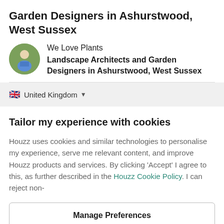Garden Designers in Ashurstwood, West Sussex
We Love Plants
Landscape Architects and Garden Designers in Ashurstwood, West Sussex
United Kingdom
Tailor my experience with cookies
Houzz uses cookies and similar technologies to personalise my experience, serve me relevant content, and improve Houzz products and services. By clicking ‘Accept’ I agree to this, as further described in the Houzz Cookie Policy. I can reject non-
Manage Preferences
Accept